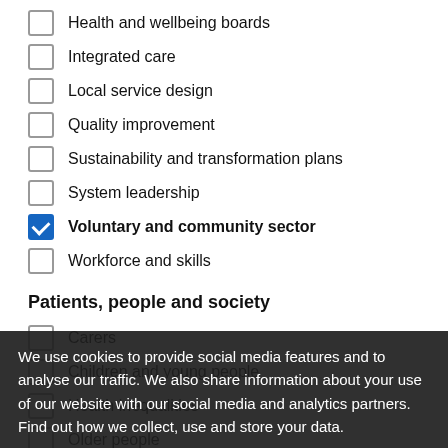Health and wellbeing boards
Integrated care
Local service design
Quality improvement
Sustainability and transformation plans
System leadership
Voluntary and community sector (checked)
Workforce and skills
Patients, people and society
Carers
Children and young people
Health inequalities
Older people
We use cookies to provide social media features and to analyse our traffic. We also share information about your use of our website with our social media and analytics partners. Find out how we collect, use and store your data.